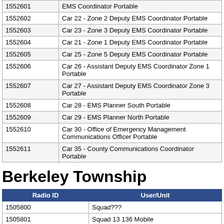|  |  |
| --- | --- |
| 1552601 | EMS Coordinator Portable |
| 1552602 | Car 22 - Zone 2 Deputy EMS Coordinator Portable |
| 1552603 | Car 23 - Zone 3 Deputy EMS Coordinator Portable |
| 1552604 | Car 21 - Zone 1 Deputy EMS Coordinator Portable |
| 1552605 | Car 25 - Zone 5 Deputy EMS Coordinator Portable |
| 1552606 | Car 26 - Assistant Deputy EMS Coordinator Zone 1 Portable |
| 1552607 | Car 27 - Assistant Deputy EMS Coordinator Zone 3 Portable |
| 1552608 | Car 28 - EMS Planner South Portable |
| 1552609 | Car 29 - EMS Planner North Portable |
| 1552610 | Car 30 - Office of Emergency Management Communications Officer Portable |
| 1552611 | Car 35 - County Communications Coordinator Portable |
Berkeley Township
| Radio ID | User/Unit |
| --- | --- |
| 1505800 | Squad??? |
| 1505801 | Squad 13 136 Mobile |
| 1505802 | Squad 13 137 Mobile |
| 1505803 | Squad 13 132 Portable |
| 1505805 | Squad 13 134 Portable |
| 1505806 | Squad 13 135 Portable |
| 1505807 | Squad??? |
| 1505808 | Squad 13 137 Portable |